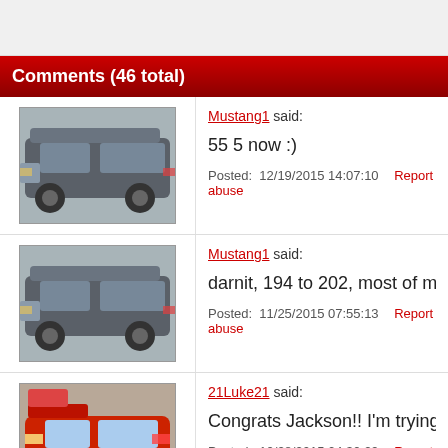Comments (46 total)
Mustang1 said:
55 5 now :)
Posted: 12/19/2015 14:07:10  Report abuse
Mustang1 said:
darnit, 194 to 202, most of most spots have been g
Posted: 11/25/2015 07:55:13  Report abuse
21Luke21 said:
Congrats Jackson!! I'm trying to get to top 100! Lol
Posted: 10/28/2015 04:30:29  Report abuse
Mustang1 said:
finally broke 200! #199 finally :) thanks to everyone
Posted: (truncated)